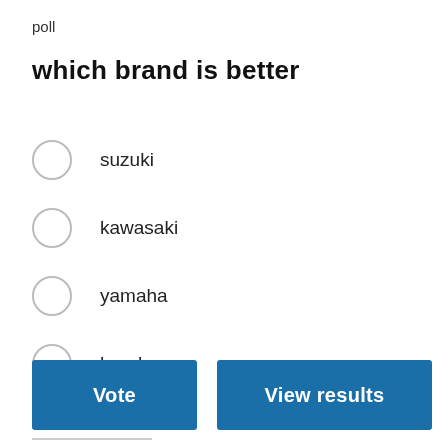poll
which brand is better
suzuki
kawasaki
yamaha
honda
Vote
View results